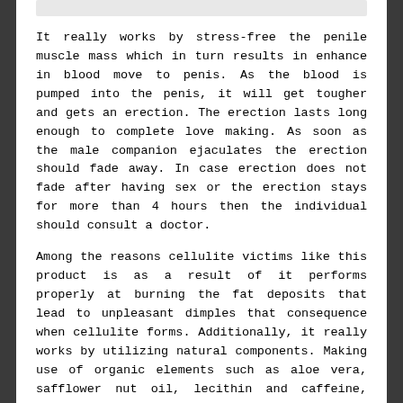It really works by stress-free the penile muscle mass which in turn results in enhance in blood move to penis. As the blood is pumped into the penis, it will get tougher and gets an erection. The erection lasts long enough to complete love making. As soon as the male companion ejaculates the erection should fade away. In case erection does not fade after having sex or the erection stays for more than 4 hours then the individual should consult a doctor.
Among the reasons cellulite victims like this product is as a result of it performs properly at burning the fat deposits that lead to unpleasant dimples that consequence when cellulite forms. Additionally, it really works by utilizing natural components. Making use of organic elements such as aloe vera, safflower nut oil, lecithin and caffeine, Miracle Burn cream makes … Read the rest
Filed Under: Healthy Life | Tagged: caths, guide, health | Leave a comment
A SECRET WEAPON FOR HEALTH